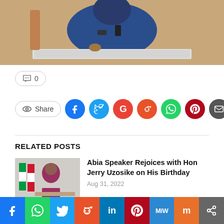[Figure (photo): A man in blue clothing sitting at a white podium/desk, photo cropped at top]
🗨 0
👁 Share — social sharing buttons: Facebook, Twitter, Google+, Reddit, WhatsApp, Pinterest, Email
RELATED POSTS
[Figure (photo): Man in pink/maroon shirt sitting at desk with flags in background]
Abia Speaker Rejoices with Hon Jerry Uzosike on His Birthday
Aug 31, 2022
[Figure (photo): Man in red clothing]
Abia Speaker Felicitates Barr Suleiman Ukandu on His...
[Figure (infographic): Bottom social sharing bar: Facebook, WhatsApp, Twitter, Reddit, LinkedIn, Pinterest, MeWe, Mix, Share]